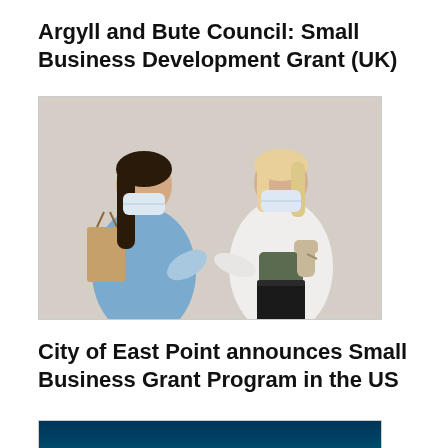Argyll and Bute Council: Small Business Development Grant (UK)
[Figure (photo): Two women wearing face masks doing an elbow bump greeting, one with dark hair in a denim jacket carrying a shopping bag, the other with blonde hair in a white jacket holding a coffee cup, against a light grey background]
City of East Point announces Small Business Grant Program in the US
[Figure (photo): Dark teal/blue background with a gold star-shaped emblem or logo at the bottom center, partially visible]